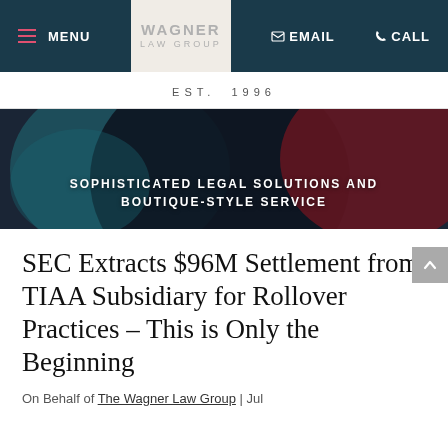MENU | EMAIL | CALL — Wagner Law Group — EST. 1996
[Figure (photo): Dark abstract hero image with teal, black, and red/maroon circular shapes. Overlay text: SOPHISTICATED LEGAL SOLUTIONS AND BOUTIQUE-STYLE SERVICE]
SEC Extracts $96M Settlement from TIAA Subsidiary for Rollover Practices – This is Only the Beginning
On Behalf of The Wagner Law Group | Jul